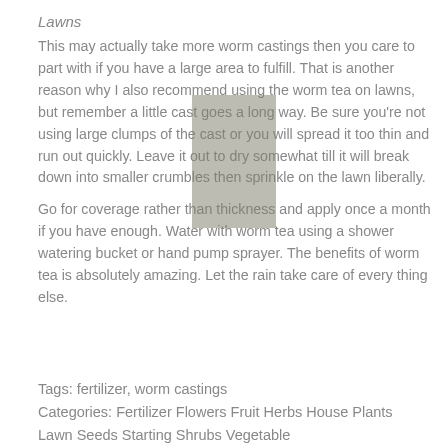Lawns
This may actually take more worm castings then you care to part with if you have a large area to fulfill. That is another reason why I also recommend using the worm tea on lawns, but remember a little cast goes a long way. Be sure you're not using large clumps of the cast or you will spread it too thin and run out quickly. Leave it out to dry somewhat till it will break down into smaller crumbles then sprinkle on the lawn liberally.
Go for coverage rather than thickness and apply once a month if you have enough. Water with worm tea using a shower watering bucket or hand pump sprayer. The benefits of worm tea is absolutely amazing. Let the rain take care of every thing else.
Tags: fertilizer, worm castings
Categories: Fertilizer Flowers Fruit Herbs House Plants Lawn Seeds Starting Shrubs Vegetable